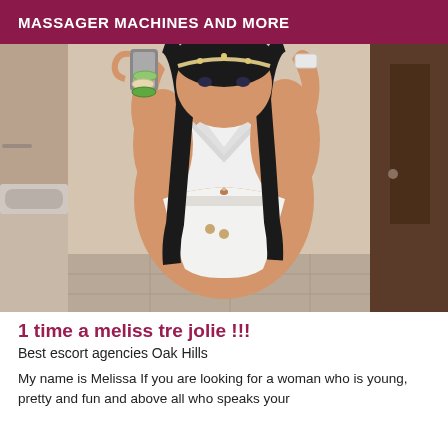MASSAGER MACHINES AND MORE
[Figure (photo): A woman in a white crop top and white short shorts taking a mirror selfie in a bathroom.]
1 time a meliss tre jolie !!!
Best escort agencies Oak Hills
My name is Melissa If you are looking for a woman who is young, pretty and fun and above all who speaks your